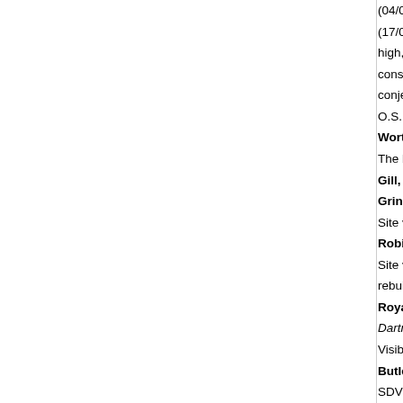(04/05/1950) Cairn (diameter 19.0 metres, height 1 [truncated] (17/07/1977) Western White Barrow (name confirm[truncated] high, and lies on the summit of a broad level hill at[truncated] construction of a two room building, with fireplace,[truncated] conjectural. Petre's Cross (SX 66 NE 37) has been[truncated] O.S.10000 Survey revised.
Worth, R. H., 1967, Worth's Dartmoor, 164 (Monog[truncated]
The barrow was 'partly remodelled' to provide a dw[truncated]
Gill, C. (ed.), 1970, Dartmoor: a New Study, 279 (M[truncated]
Grinsell, L. V., 1978, Dartmoor Barrows, 154 (Artic[truncated]
Site visited on 23rd June 1976. Mutilated cairn. Dia[truncated]
Robinson, R., 1978, South Brent Parish Checklist[truncated]
Site visited on 5th May 1977. This cairn is compose[truncated] rebuilding as a peat cutters house is still clear with[truncated]
Royal Commission on the Historical Monument[truncated] Dartmoor Pre-NMP (Cartographic). SDV319854.
Visible on RAF photograph.
Butler, J., 1993, Dartmoor Atlas of Antiquities: Volu[truncated] SDV337765.
Western White Barrow at SX65346548 with one of[truncated] nearly 300 years before being broken up by peat c[truncated] 10.0 metres by 3.5 metres across the centre of the[truncated] arms of the cross were used to provide a lintel for t[truncated] presumably lurking amongst the stones of the cairn[truncated] the tenon for the socket uppermost. Part of the si[truncated]